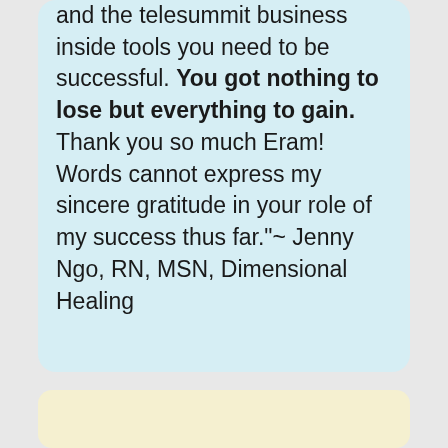and the telesummit business inside tools you need to be successful. You got nothing to lose but everything to gain. Thank you so much Eram! Words cannot express my sincere gratitude in your role of my success thus far."~ Jenny Ngo, RN, MSN, Dimensional Healing